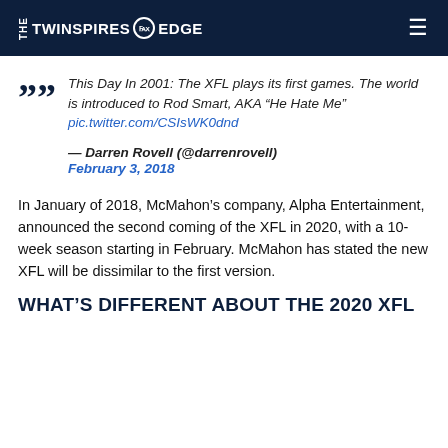THE TWINSPIRES EDGE
This Day In 2001: The XFL plays its first games. The world is introduced to Rod Smart, AKA “He Hate Me” pic.twitter.com/CSIsWK0dnd

— Darren Rovell (@darrenrovell)
February 3, 2018
In January of 2018, McMahon’s company, Alpha Entertainment, announced the second coming of the XFL in 2020, with a 10-week season starting in February. McMahon has stated the new XFL will be dissimilar to the first version.
WHAT’S DIFFERENT ABOUT THE 2020 XFL COMPARED TO 2001?